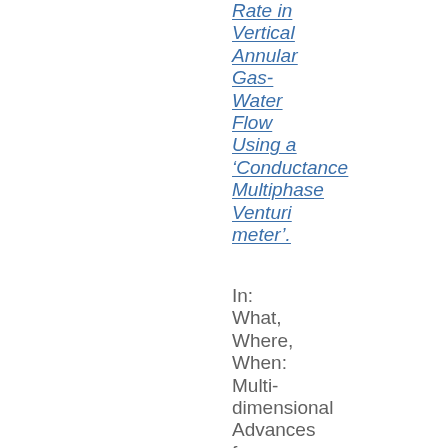Rate in Vertical Annular Gas-Water Flow Using a ‘Conductance Multiphase Venturi meter’.
In: What, Where, When: Multi-dimensional Advances for Industrial Process